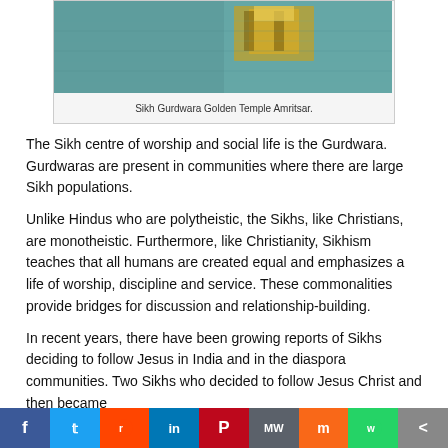[Figure (photo): Photo of Sikh Gurdwara Golden Temple Amritsar reflected in water]
Sikh Gurdwara Golden Temple Amritsar.
The Sikh centre of worship and social life is the Gurdwara. Gurdwaras are present in communities where there are large Sikh populations.
Unlike Hindus who are polytheistic, the Sikhs, like Christians, are monotheistic. Furthermore, like Christianity, Sikhism teaches that all humans are created equal and emphasizes a life of worship, discipline and service. These commonalities provide bridges for discussion and relationship-building.
In recent years, there have been growing reports of Sikhs deciding to follow Jesus in India and in the diaspora communities. Two Sikhs who decided to follow Jesus Christ and then became